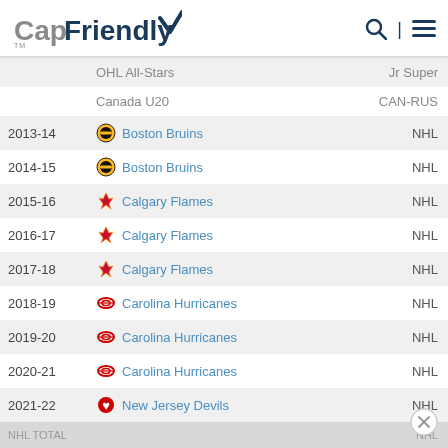CapFriendly
|  | Team | League |
| --- | --- | --- |
|  | OHL All-Stars | Jr Super |
|  | Canada U20 | CAN-RUS |
| 2013-14 | Boston Bruins | NHL |
| 2014-15 | Boston Bruins | NHL |
| 2015-16 | Calgary Flames | NHL |
| 2016-17 | Calgary Flames | NHL |
| 2017-18 | Calgary Flames | NHL |
| 2018-19 | Carolina Hurricanes | NHL |
| 2019-20 | Carolina Hurricanes | NHL |
| 2020-21 | Carolina Hurricanes | NHL |
| 2021-22 | New Jersey Devils | NHL |
| NHL TOTAL |  | NHL |